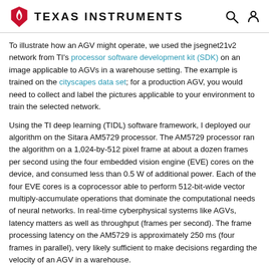Texas Instruments
To illustrate how an AGV might operate, we used the jsegnet21v2 network from TI's processor software development kit (SDK) on an image applicable to AGVs in a warehouse setting. The example is trained on the cityscapes data set; for a production AGV, you would need to collect and label the pictures applicable to your environment to train the selected network.
Using the TI deep learning (TIDL) software framework, I deployed our algorithm on the Sitara AM5729 processor. The AM5729 processor ran the algorithm on a 1,024-by-512 pixel frame at about a dozen frames per second using the four embedded vision engine (EVE) cores on the device, and consumed less than 0.5 W of additional power. Each of the four EVE cores is a coprocessor able to perform 512-bit-wide vector multiply-accumulate operations that dominate the computational needs of neural networks. In real-time cyberphysical systems like AGVs, latency matters as well as throughput (frames per second). The frame processing latency on the AM5729 is approximately 250 ms (four frames in parallel), very likely sufficient to make decisions regarding the velocity of an AGV in a warehouse.